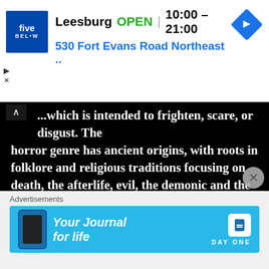[Figure (screenshot): Five Below store advertisement banner showing Leesburg store OPEN 10:00–21:00, 530 Fort Evans Road Northeast, with navigation arrow icon]
...which is intended to frighten, scare, or disgust. The horror genre has ancient origins, with roots in folklore and religious traditions focusing on death, the afterlife, evil, the demonic and the principle of the thing embodied in the person.
[Figure (photo): Dark, moody sky photo with thin dark diagonal lines/branches visible against cloudy grey sky]
Advertisements
[Figure (screenshot): Your Journal for life - Day One advertisement banner in blue]